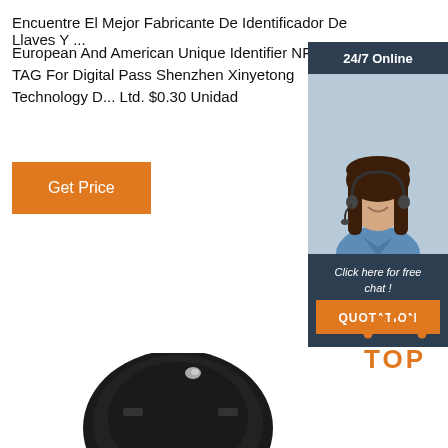Encuentre El Mejor Fabricante De Identificador De Llaves Y ...
European And American Unique Identifier NFC TAG For Digital Pass Shenzhen Xinyetong Technology D... Ltd. $0.30 Unidad
Get Price
[Figure (photo): Customer service representative chat widget with '24/7 Online' header, woman wearing headset, 'Click here for free chat!' text, and QUOTATION button]
[Figure (logo): TOP button with orange dotted arc design and orange text 'TOP']
[Figure (photo): Partial view of a dark/black round product at the bottom of the page]